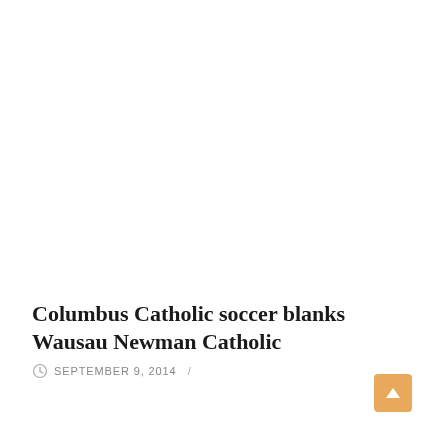Columbus Catholic soccer blanks Wausau Newman Catholic
SEPTEMBER 9, 2014  /